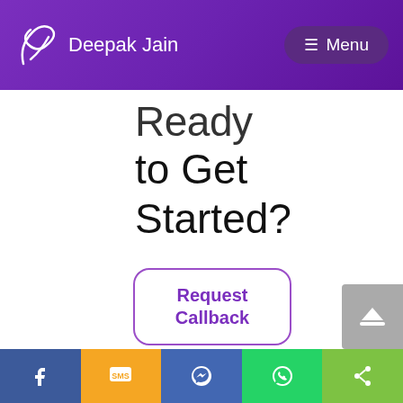Deepak Jain  Menu
Ready to Get Started?
Submit your request for a callback or direct an official email..
Request Callback